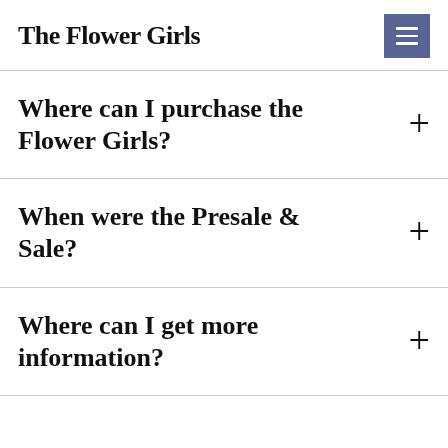The Flower Girls
Where can I purchase the Flower Girls?
When were the Presale & Sale?
Where can I get more information?